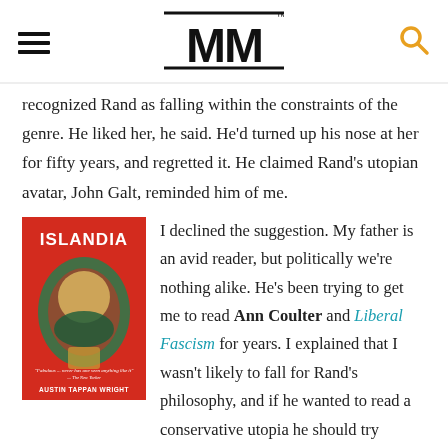MM (logo with hamburger menu and search icon)
recognized Rand as falling within the constraints of the genre. He liked her, he said. He'd turned up his nose at her for fifty years, and regretted it. He claimed Rand's utopian avatar, John Galt, reminded him of me.
[Figure (illustration): Book cover of ISLANDIA by Austin Tappan Wright, red cover with decorative illustration, quote at bottom]
I declined the suggestion. My father is an avid reader, but politically we're nothing alike. He's been trying to get me to read Ann Coulter and Liberal Fascism for years. I explained that I wasn't likely to fall for Rand's philosophy, and if he wanted to read a conservative utopia he should try Austin Tappan Wright's Islandia. (Islandia's "conservatism" dates